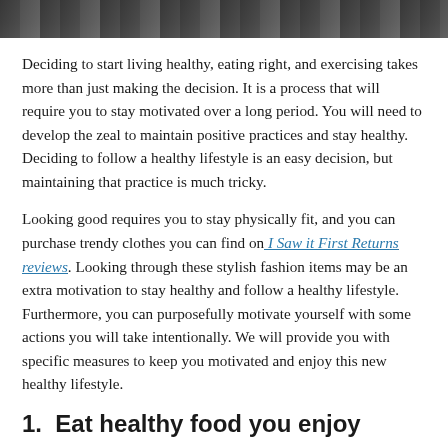[Figure (photo): Partial photo strip at the top of the page, showing a dark outdoor or nature scene cropped to a narrow horizontal band.]
Deciding to start living healthy, eating right, and exercising takes more than just making the decision. It is a process that will require you to stay motivated over a long period. You will need to develop the zeal to maintain positive practices and stay healthy. Deciding to follow a healthy lifestyle is an easy decision, but maintaining that practice is much tricky.
Looking good requires you to stay physically fit, and you can purchase trendy clothes you can find on I Saw it First Returns reviews. Looking through these stylish fashion items may be an extra motivation to stay healthy and follow a healthy lifestyle. Furthermore, you can purposefully motivate yourself with some actions you will take intentionally. We will provide you with specific measures to keep you motivated and enjoy this new healthy lifestyle.
1.  Eat healthy food you enjoy